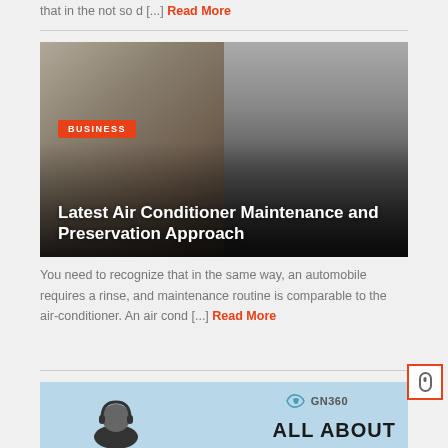that in the not so d [...] Read More
[Figure (photo): A technician working on an air conditioning unit overhead, with a BUSINESS badge overlay and article title 'Latest Air Conditioner Maintenance and Preservation Approach']
You need to recognize that in the same way, an automobile requires a rinse, and maintenance routine is comparable to the air-conditioner. An air cond [...] Read More
[Figure (illustration): Light blue background with a person wearing a headset at a computer, GN360 logo, and 'ALL ABOUT' text]